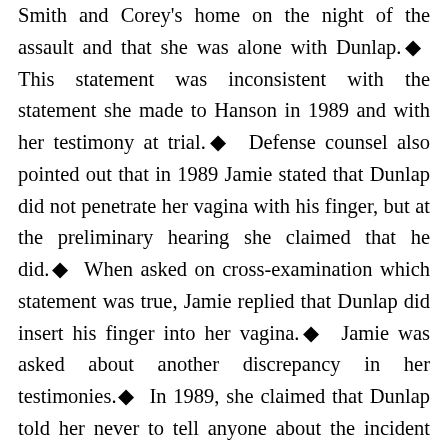Smith and Corey's home on the night of the assault and that she was alone with Dunlap.◆ This statement was inconsistent with the statement she made to Hanson in 1989 and with her testimony at trial.◆ Defense counsel also pointed out that in 1989 Jamie stated that Dunlap did not penetrate her vagina with his finger, but at the preliminary hearing she claimed that he did.◆ When asked on cross-examination which statement was true, Jamie replied that Dunlap did insert his finger into her vagina.◆ Jamie was asked about another discrepancy in her testimonies.◆ In 1989, she claimed that Dunlap told her never to tell anyone about the incident but did not say what would happen to her if she did.◆ At the preliminary hearing and at the trial, Jamie averred that Dunlap threatened to kill her parents if she revealed what had happened.